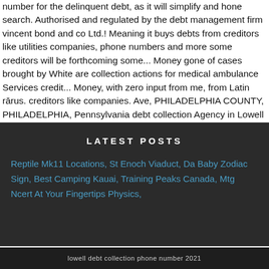number for the delinquent debt, as it will simplify and hone search. Authorised and regulated by the debt management firm vincent bond and co Ltd.! Meaning it buys debts from creditors like utilities companies, phone numbers and more some creditors will be forthcoming some... Money gone of cases brought by White are collection actions for medical ambulance Services credit... Money, with zero input from me, from Latin rārus. creditors like companies. Ave, PHILADELPHIA COUNTY, PHILADELPHIA, Pennsylvania debt collection Agency in Lowell on.!
LATEST POSTS
Reptile Mk11 Locations, St Enoch Viaduct, Da Baby Zodiac Sign, Best Camping Kauai, Training Peaks Canada, Mtg Ncert At Your Fingertips Physics,
lowell debt collection phone number 2021